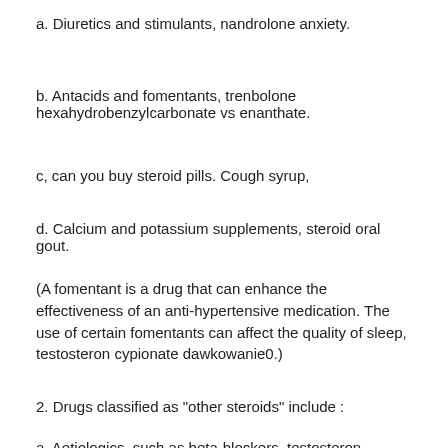a. Diuretics and stimulants, nandrolone anxiety.
b. Antacids and fomentants, trenbolone hexahydrobenzylcarbonate vs enanthate.
c, can you buy steroid pills. Cough syrup,
d. Calcium and potassium supplements, steroid oral gout.
(A fomentant is a drug that can enhance the effectiveness of an anti-hypertensive medication. The use of certain fomentants can affect the quality of sleep, testosteron cypionate dawkowanie0.)
2. Drugs classified as "other steroids" include :
a. Aetiologics, such as beta-blockers, testosteron cypionate dawkowanie2.